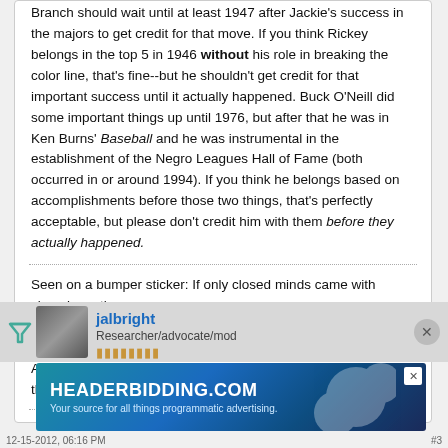Branch should wait until at least 1947 after Jackie's success in the majors to get credit for that move. If you think Rickey belongs in the top 5 in 1946 without his role in breaking the color line, that's fine--but he shouldn't get credit for that important success until it actually happened. Buck O'Neill did some important things up until 1976, but after that he was in Ken Burns' Baseball and he was instrumental in the establishment of the Negro Leagues Hall of Fame (both occurred in or around 1994). If you think he belongs based on accomplishments before those two things, that's perfectly acceptable, but please don't credit him with them before they actually happened.
Seen on a bumper sticker: If only closed minds came with closed mouths.
Some minds are like concrete--thoroughly mixed up and permanently set.
A Lincoln: I don't think much of a man who is not wiser today than he was yesterday.
[Figure (screenshot): User profile bar showing jalbright, Researcher/advocate/mod, with avatar and close button]
[Figure (screenshot): Advertisement banner for HEADERBIDDING.COM - Your source for all things programmatic advertising.]
12-15-2012, 06:16 PM   #3